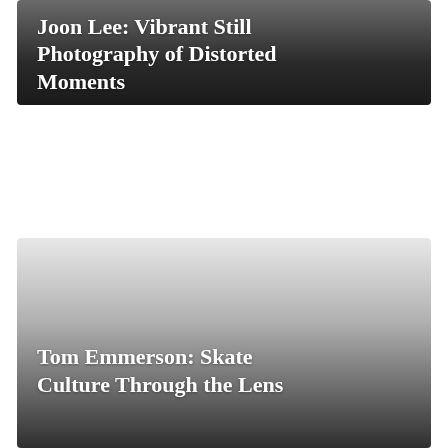[Figure (illustration): Dark gradient card image for Joon Lee: Vibrant Still Photography of Distorted Moments]
Joon Lee: Vibrant Still Photography of Distorted Moments
[Figure (illustration): Light-to-dark gradient card image for Tom Emmerson: Skate Culture Through the Lens]
Tom Emmerson: Skate Culture Through the Lens